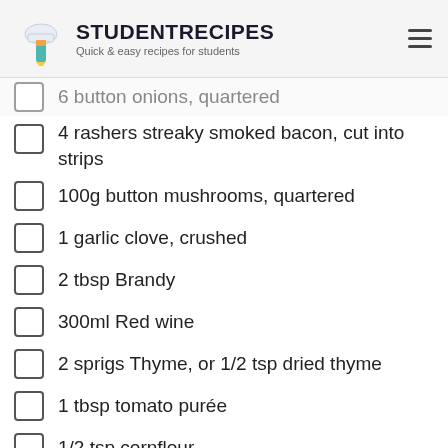STUDENTRECIPES — Quick & easy recipes for students
6 button onions, quartered
4 rashers streaky smoked bacon, cut into strips
100g button mushrooms, quartered
1 garlic clove, crushed
2 tbsp Brandy
300ml Red wine
2 sprigs Thyme, or 1/2 tsp dried thyme
1 tbsp tomato purée
1/2 tsp cornflour
2 tbsp chopped Parsley
salt and pepper